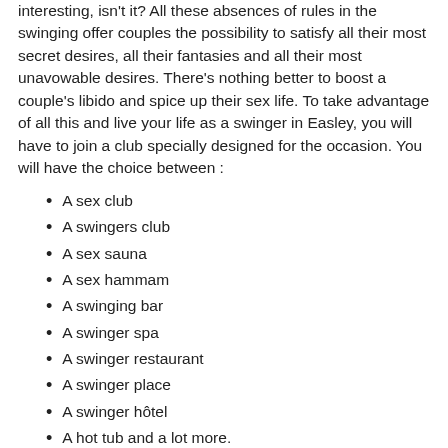interesting, isn't it? All these absences of rules in the swinging offer couples the possibility to satisfy all their most secret desires, all their fantasies and all their most unavowable desires. There's nothing better to boost a couple's libido and spice up their sex life. To take advantage of all this and live your life as a swinger in Easley, you will have to join a club specially designed for the occasion. You will have the choice between :
A sex club
A swingers club
A sex sauna
A sex hammam
A swinging bar
A swinger spa
A swinger restaurant
A swinger place
A swinger hôtel
A hot tub and a lot more.
To find these swingers clubs in Easley, South Carolina, you can search on the sex ads or the naughty ads of online dating sites.